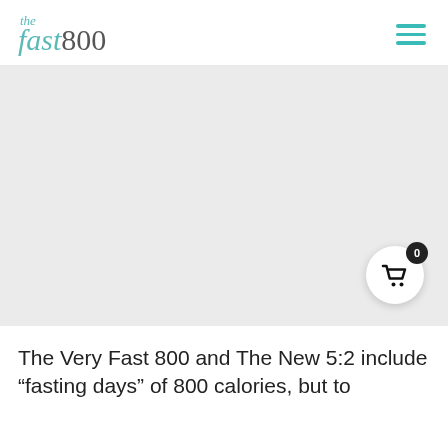the fast800 [logo] [hamburger menu]
[Figure (other): Light grey placeholder hero image area with a shopping cart button (white circle) in the bottom-right corner showing a badge with '0']
The Very Fast 800 and The New 5:2 include “fasting days” of 800 calories, but to